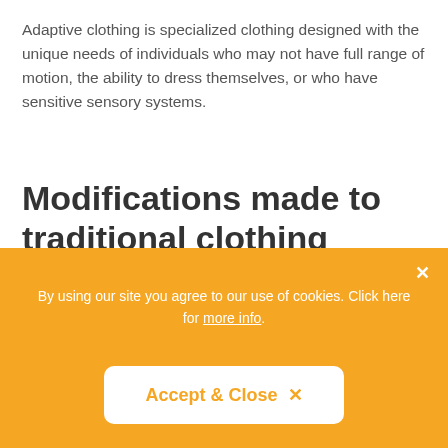Adaptive clothing is specialized clothing designed with the unique needs of individuals who may not have full range of motion, the ability to dress themselves, or who have sensitive sensory systems.
Modifications made to traditional clothing designs
[Figure (screenshot): Cookie consent overlay banner in orange with text 'By using our site you agree to our use of cookies. Click here for more info.' and an 'Accept & Close x' button in white.]